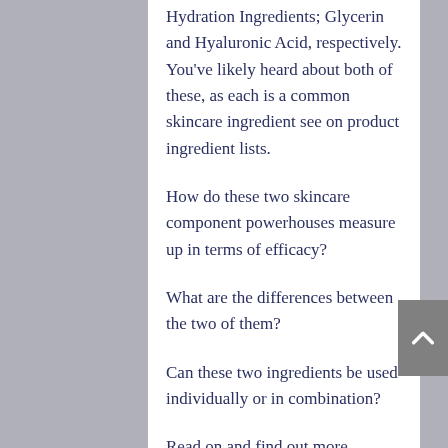Hydration Ingredients; Glycerin and Hyaluronic Acid, respectively. You've likely heard about both of these, as each is a common skincare ingredient see on product ingredient lists.
How do these two skincare component powerhouses measure up in terms of efficacy?
What are the differences between the two of them?
Can these two ingredients be used individually or in combination?
Read on and find out more.
Glycerin & hyaluronic acid in